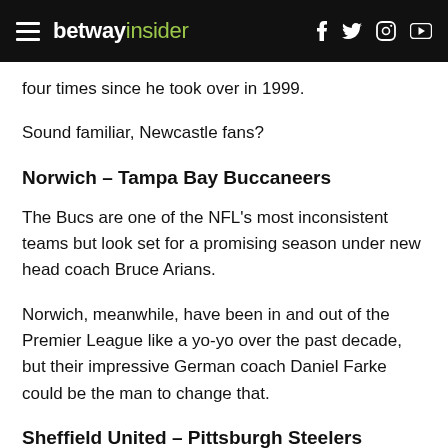betway insider
four times since he took over in 1999.
Sound familiar, Newcastle fans?
Norwich – Tampa Bay Buccaneers
The Bucs are one of the NFL's most inconsistent teams but look set for a promising season under new head coach Bruce Arians.
Norwich, meanwhile, have been in and out of the Premier League like a yo-yo over the past decade, but their impressive German coach Daniel Farke could be the man to change that.
Sheffield United – Pittsburgh Steelers